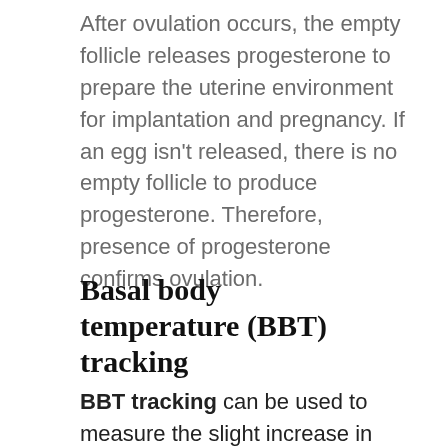After ovulation occurs, the empty follicle releases progesterone to prepare the uterine environment for implantation and pregnancy. If an egg isn't released, there is no empty follicle to produce progesterone. Therefore, presence of progesterone confirms ovulation.
Basal body temperature (BBT) tracking
BBT tracking can be used to measure the slight increase in body temperature caused when progesterone rises and can therefore be used to confirm...